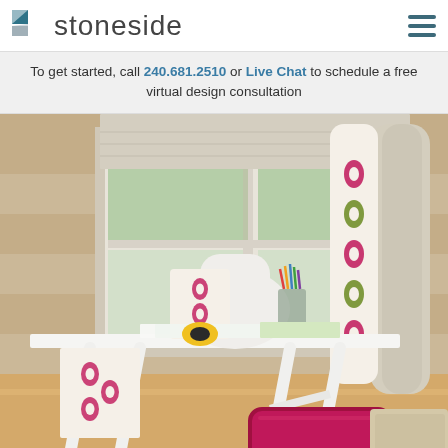[Figure (logo): Stoneside logo — teal/grey geometric square icon and 'stoneside' wordmark in grey sans-serif]
To get started, call 240.681.2510 or Live Chat to schedule a free virtual design consultation
[Figure (photo): Interior design photo of a home office/craft room with a white trestle desk, a chair with pink ikat fabric, colored pencils in a cup, fabric samples and a tape measure on the desk, a linen roman shade on a large window, colorful rolled fabric bolts leaning against the wall, and a magenta/pink throw pillow on the floor near a beige upholstered piece of furniture]